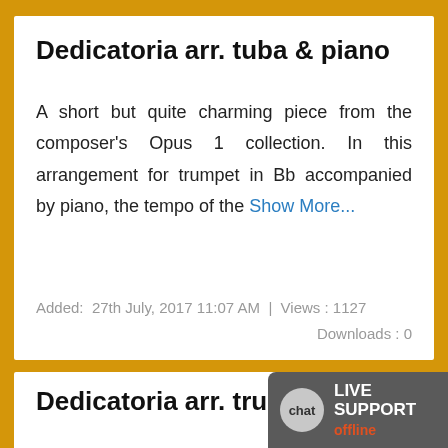Dedicatoria arr. tuba & piano
A short but quite charming piece from the composer's Opus 1 collection. In this arrangement for trumpet in Bb accompanied by piano, the tempo of the Show More...
Added:  27th July, 2017 11:07 AM  |  Views : 1127  Downloads : 0
Dedicatoria arr. trumpet i